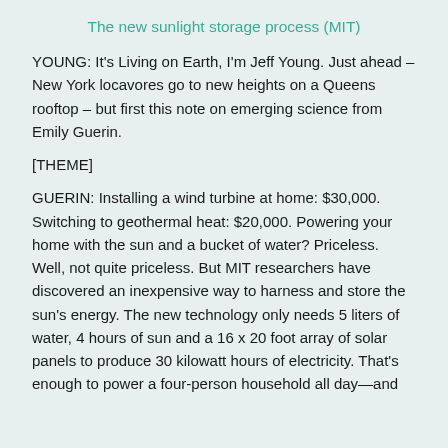The new sunlight storage process (MIT)
YOUNG: It's Living on Earth, I'm Jeff Young. Just ahead – New York locavores go to new heights on a Queens rooftop – but first this note on emerging science from Emily Guerin.
[THEME]
GUERIN: Installing a wind turbine at home: $30,000. Switching to geothermal heat: $20,000. Powering your home with the sun and a bucket of water? Priceless. Well, not quite priceless. But MIT researchers have discovered an inexpensive way to harness and store the sun's energy. The new technology only needs 5 liters of water, 4 hours of sun and a 16 x 20 foot array of solar panels to produce 30 kilowatt hours of electricity. That's enough to power a four-person household all day—and